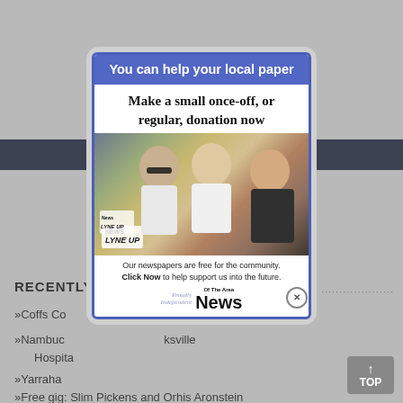RECENTLY U
»Coffs Co... plans
»Nambuc... ksville Hospital
»Yarraha
»Free gig: Slim Pickens and Orhis Aronstein
You can help your local paper
Make a small once-off, or regular, donation now
[Figure (photo): Three young people outdoors, two women and one man wearing sunglasses, holding newspapers including 'News Of The Area / Lyne Up' editions]
Our newspapers are free for the community. Click Now to help support us into the future.
[Figure (logo): News Of The Area logo with 'Proudly Independent' tagline]